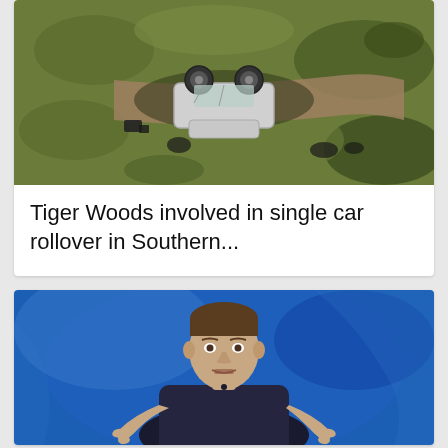[Figure (photo): Aerial view of an overturned white SUV in a grassy/dirt hillside area after a rollover accident]
Tiger Woods involved in single car rollover in Southern...
[Figure (photo): Mark Zuckerberg speaking on stage against a blue background, wearing a dark navy t-shirt with hands raised]